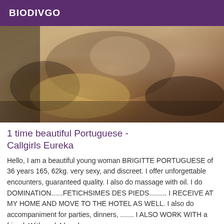BIODIVGO
[Figure (photo): A woman posing on a golden/yellow sofa wearing lingerie and stockings]
1 time beautiful Portuguese - Callgirls Eureka
Hello, I am a beautiful young woman BRIGITTE PORTUGUESE of 36 years 165, 62kg. very sexy, and discreet. I offer unforgettable encounters, guaranteed quality. I also do massage with oil. I do DOMINATION......FETICHSIMES DES PIEDS......... I RECEIVE AT MY HOME AND MOVE TO THE HOTEL AS WELL. I also do accompaniment for parties, dinners, ....... I ALSO WORK WITH a friend. With real 4 hands